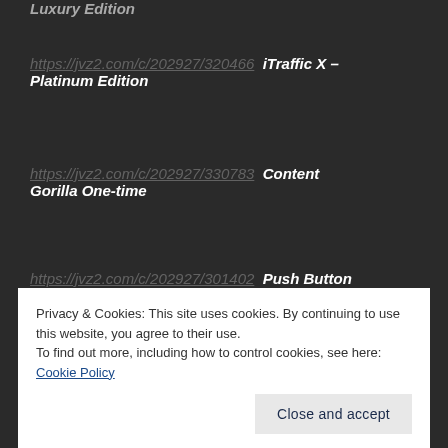Luxury Edition
https://jvz2.com/c/202927/320466  iTraffic X – Platinum Edition
https://jvz2.com/c/202927/330783  Content Gorilla One-time
https://jvz2.com/c/202927/301402  Push Button Traffic 3.0 – Brand New
Privacy & Cookies: This site uses cookies. By continuing to use this website, you agree to their use.
To find out more, including how to control cookies, see here:
Cookie Policy
Close and accept